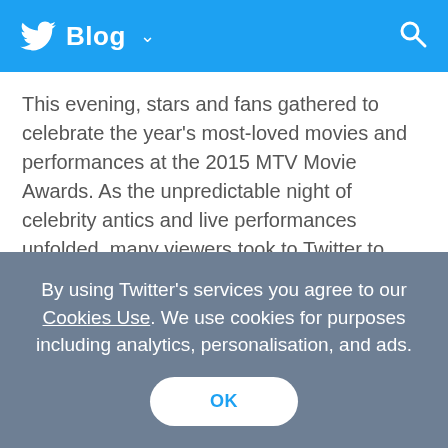Twitter Blog
This evening, stars and fans gathered to celebrate the year's most-loved movies and performances at the 2015 MTV Movie Awards. As the unpredictable night of celebrity antics and live performances unfolded, many viewers took to Twitter to share real-time reactions to the show.
The MTV Movie Awards never disappoints in delivering a buzzworthy show. Here are the moments that generated the most conversation on
By using Twitter's services you agree to our Cookies Use. We use cookies for purposes including analytics, personalisation, and ads.